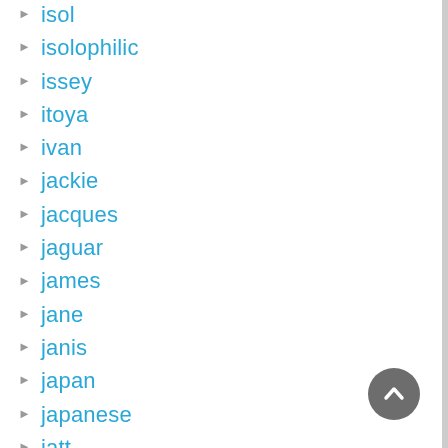isolophilic
issey
itoya
ivan
jackie
jacques
jaguar
james
jane
janis
japan
japanese
jatt